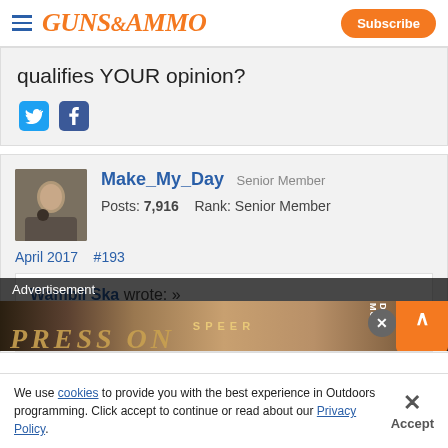GUNS&AMMO | Subscribe
qualifies YOUR opinion?
[Figure (other): Twitter and Facebook social share icons]
Make_My_Day  Senior Member
Posts: 7,916   Rank: Senior Member
April 2017   #193
Wambli Ska wrote: »
All you get here are opinions
[Figure (other): Advertisement banner: SPEER PRESS ON with gun imagery]
We use cookies to provide you with the best experience in Outdoors programming. Click accept to continue or read about our Privacy Policy.